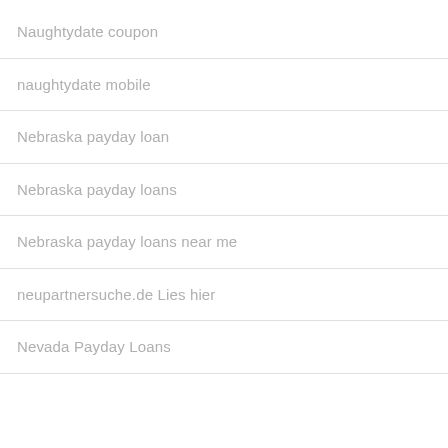Naughtydate coupon
naughtydate mobile
Nebraska payday loan
Nebraska payday loans
Nebraska payday loans near me
neupartnersuche.de Lies hier
Nevada Payday Loans